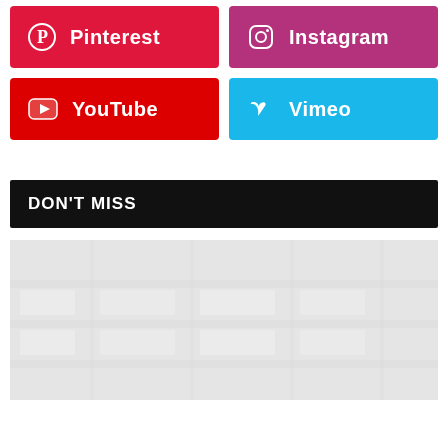[Figure (infographic): Pinterest social media button - red background with Pinterest logo and text]
[Figure (infographic): Instagram social media button - purple/magenta background with Instagram logo and text]
[Figure (infographic): YouTube social media button - red background with YouTube play button logo and text]
[Figure (infographic): Vimeo social media button - cyan/light blue background with Vimeo logo and text]
DON'T MISS
[Figure (photo): Faded/washed out photo of a store aisle with products on shelves]